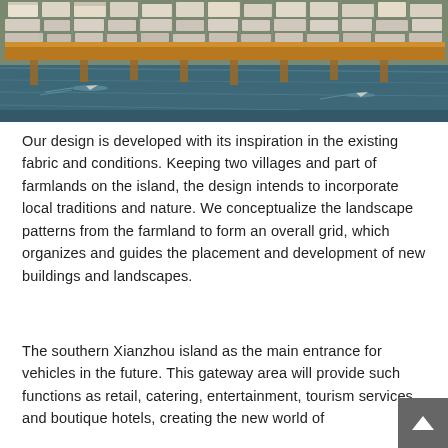[Figure (photo): Aerial view of a waterfront urban development with buildings arranged in a grid pattern along a waterway, boats visible on the water, warm orange and brown tones.]
Our design is developed with its inspiration in the existing fabric and conditions. Keeping two villages and part of farmlands on the island, the design intends to incorporate local traditions and nature. We conceptualize the landscape patterns from the farmland to form an overall grid, which organizes and guides the placement and development of new buildings and landscapes.
The southern Xianzhou island as the main entrance for vehicles in the future. This gateway area will provide such functions as retail, catering, entertainment, tourism services and boutique hotels, creating the new world of